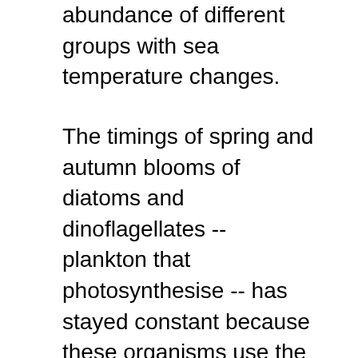abundance of different groups with sea temperature changes.
The timings of spring and autumn blooms of diatoms and dinoflagellates -- plankton that photosynthesise -- has stayed constant because these organisms use the changing lengths of the day as their cue to reproduce. But plankton higher up in the food chain (like copepods) have responded unfavourably: their larvae now appear two months late each year. This is creating a serious mismatch between producers and consumers, as it means that animals near the top of the food chain, such as fish and